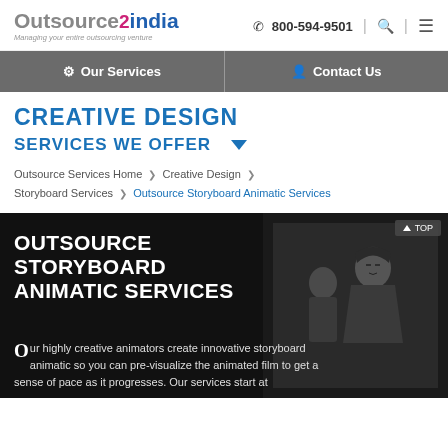[Figure (logo): Outsource2india logo with tagline 'Managing your entire outsourcing venture']
800-594-9501
Our Services | Contact Us
CREATIVE DESIGN
SERVICES WE OFFER
Outsource Services Home > Creative Design > Storyboard Services > Outsource Storyboard Animatic Services
[Figure (illustration): Dark hero banner with anime characters and text: OUTSOURCE STORYBOARD ANIMATIC SERVICES. Body text: Our highly creative animators create innovative storyboard animatic so you can pre-visualize the animated film to get a sense of pace as it progresses. Our services start at]